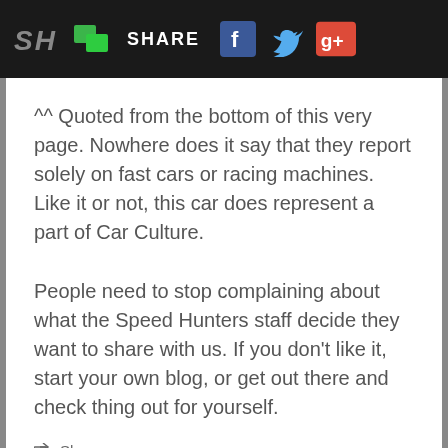SH [logo] [green icon] SHARE [Facebook] [Twitter] [Google+]
^^ Quoted from the bottom of this very page. Nowhere does it say that they report solely on fast cars or racing machines. Like it or not, this car does represent a part of Car Culture.
People need to stop complaining about what the Speed Hunters staff decide they want to share with us. If you don't like it, start your own blog, or get out there and check thing out for yourself.
Share